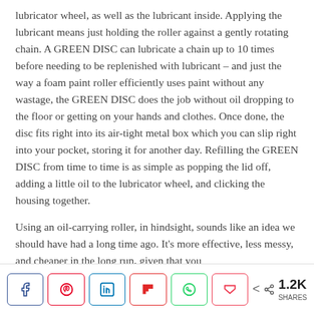lubricator wheel, as well as the lubricant inside. Applying the lubricant means just holding the roller against a gently rotating chain. A GREEN DISC can lubricate a chain up to 10 times before needing to be replenished with lubricant – and just the way a foam paint roller efficiently uses paint without any wastage, the GREEN DISC does the job without oil dropping to the floor or getting on your hands and clothes. Once done, the disc fits right into its air-tight metal box which you can slip right into your pocket, storing it for another day. Refilling the GREEN DISC from time to time is as simple as popping the lid off, adding a little oil to the lubricator wheel, and clicking the housing together.
Using an oil-carrying roller, in hindsight, sounds like an idea we should have had a long time ago. It's more effective, less messy, and cheaper in the long run, given that you